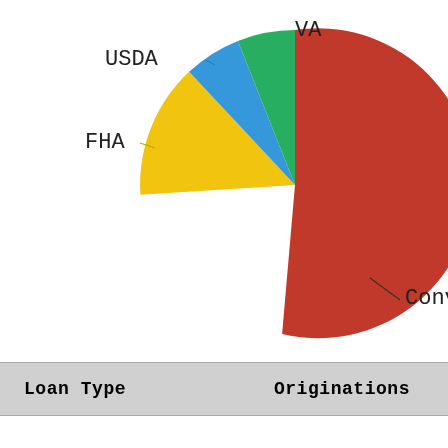[Figure (pie-chart): Loan Originations by Loan Type]
| Loan Type | Originations |
| --- | --- |